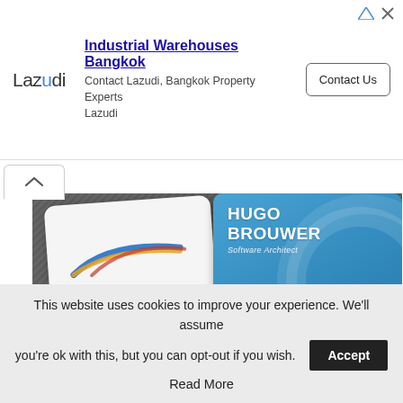[Figure (screenshot): Advertisement banner for Lazudi - Industrial Warehouses Bangkok with Contact Us button]
[Figure (photo): Photo of VMG Company business card showing Hugo Brouwer, Software Architect with contact details]
This website uses cookies to improve your experience. We'll assume you're ok with this, but you can opt-out if you wish.
Accept
Read More